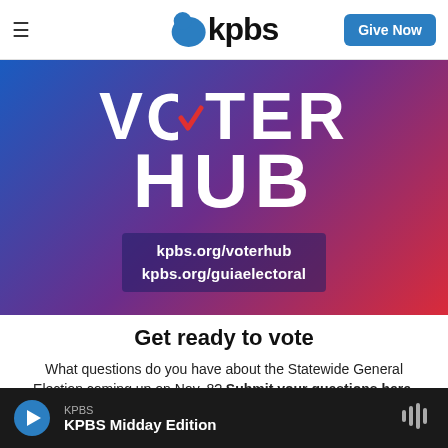KPBS — Give Now
[Figure (infographic): VOTER HUB banner with blue-to-red gradient background, large white bold text 'VOTER HUB' with a checkmark in the V, and two URLs: kpbs.org/voterhub and kpbs.org/guiaelectoral]
Get ready to vote
What questions do you have about the Statewide General Election coming up on Nov. 8? Submit your questions here, and we'll try to answer them in our reporting.
KPBS — KPBS Midday Edition